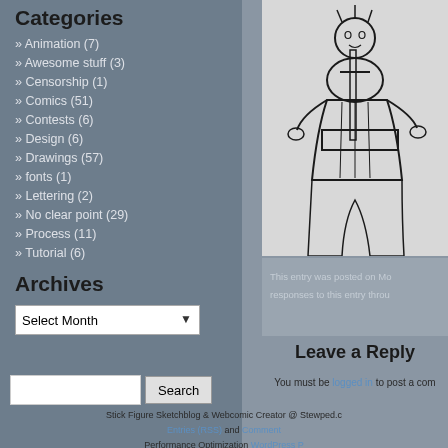Categories
» Animation (7)
» Awesome stuff (3)
» Censorship (1)
» Comics (51)
» Contests (6)
» Design (6)
» Drawings (57)
» fonts (1)
» Lettering (2)
» No clear point (29)
» Process (11)
» Tutorial (6)
Archives
Select Month
[Figure (illustration): Black and white comic/sketch illustration of a figure holding a sword, wearing traditional robes, partially cropped]
This entry was posted on Mo... responses to this entry throu...
Search
Leave a Reply
You must be logged in to post a comm...
Stick Figure Sketchblog & Webcomic Creator @ Stewped.c... Entries (RSS) and Comment... Performance Optimization WordPress P...